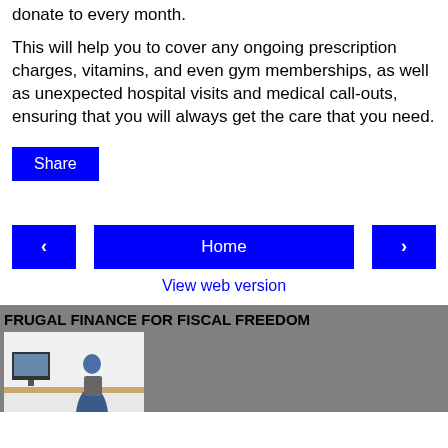donate to every month.
This will help you to cover any ongoing prescription charges, vitamins, and even gym memberships, as well as unexpected hospital visits and medical call-outs, ensuring that you will always get the care that you need.
Share
‹   Home   ›
View web version
FRUGAL FINANCE FOR FISCAL FREEDOM
[Figure (photo): Person sitting at a desk viewed from behind, working at a computer]